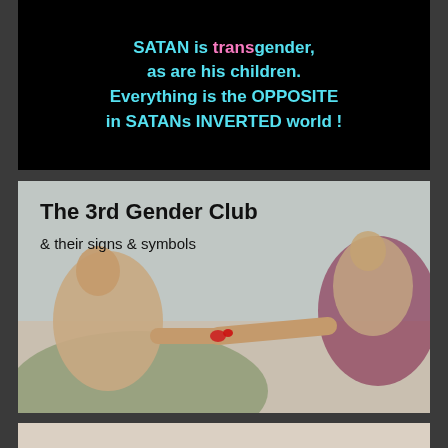[Figure (photo): Black background panel with bold cyan text reading 'SATAN is transgender, as are his children. Everything is the OPPOSITE in SATANs INVERTED world !' with the word 'trans' highlighted in pink]
[Figure (photo): Modified version of Michelangelo's Creation of Adam painting used as background, overlaid with bold black text 'The 3rd Gender Club' and '& their signs & symbols'. The fingers in the painting appear to have red painted nails.]
[Figure (photo): Partial view of another similar painting at the bottom of the page, barely visible]